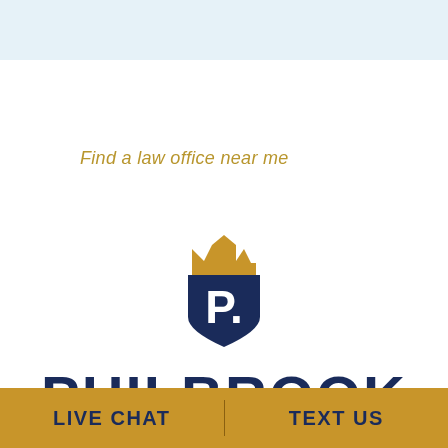Find a law office near me
[Figure (logo): Philbrook law firm shield logo with crown on top, navy blue shield with white letter P and period, gold crown above]
PHILBROOK
LIVE CHAT
TEXT US